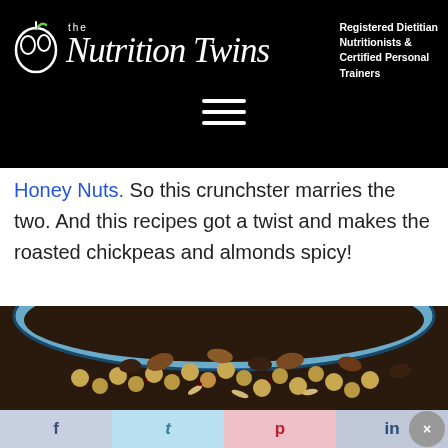the Nutrition Twins — Registered Dietitian Nutritionists & Certified Personal Trainers
Honey Nuts. So this crunchster marries the two. And this recipes got a twist and makes the roasted chickpeas and almonds spicy!
[Figure (photo): A blue bowl filled with roasted spicy chickpeas and mixed nuts including almonds and pecans]
f  t  p  in  ×